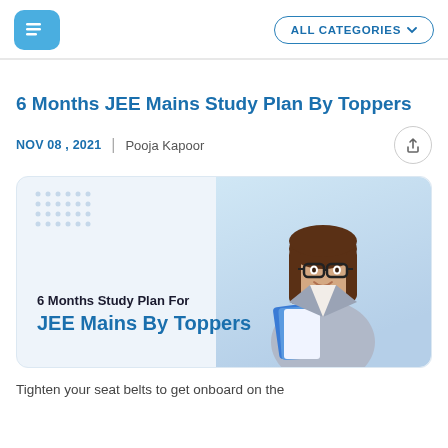[Figure (logo): Blue rounded square logo with white horizontal lines icon]
ALL CATEGORIES ▾
6 Months JEE Mains Study Plan By Toppers
NOV 08 , 2021  |  Pooja Kapoor
[Figure (illustration): Feature card with blue background showing a young woman with glasses holding books/notebook, with text '6 Months Study Plan For JEE Mains By Toppers']
Tighten your seat belts to get onboard on the